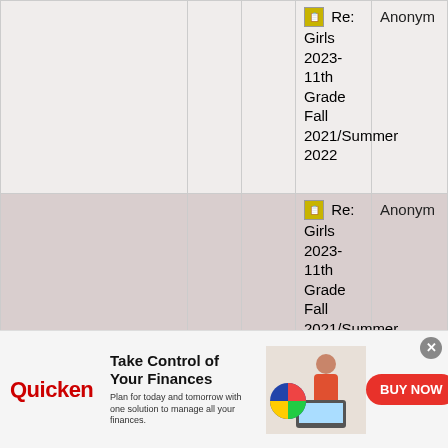|  |  |  | Post | Author |
| --- | --- | --- | --- | --- |
|  |  |  | Re: Girls 2023-11th Grade Fall 2021/Summer 2022 | Anonym |
|  |  |  | Re: Girls 2023-11th Grade Fall 2021/Summer 2022 | Anonym |
|  |  |  | Re: Girls 2023-11th Grade Fall 2021/Summer 2022 | Anonym |
|  |  |  | Re: Girls 2023-11th Grade Fall 2021/Summer 2022 | Anonym |
|  |  |  | Re: Girls 2023-11th Grade Fall 2021/Summer 2022 | Anonym |
[Figure (infographic): Quicken advertisement banner: 'Take Control of Your Finances' with BUY NOW button, woman at laptop image, and Quicken pie chart logo]